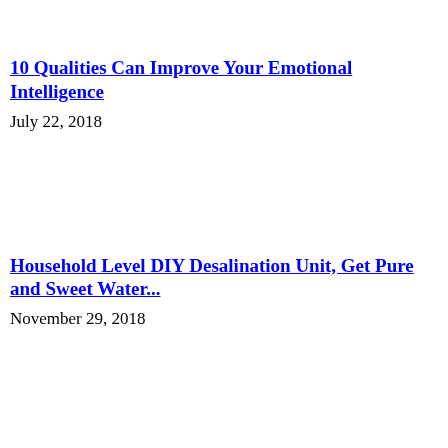10 Qualities Can Improve Your Emotional Intelligence
July 22, 2018
Household Level DIY Desalination Unit, Get Pure and Sweet Water...
November 29, 2018
Happy Raksha Bandhan 2018, Jhangi Zone Wishes